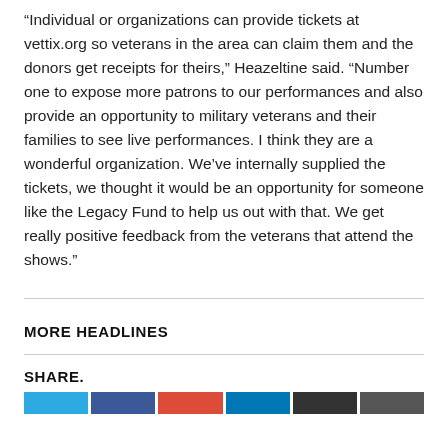“Individual or organizations can provide tickets at vettix.org so veterans in the area can claim them and the donors get receipts for theirs,” Heazeltine said. “Number one to expose more patrons to our performances and also provide an opportunity to military veterans and their families to see live performances. I think they are a wonderful organization. We’ve internally supplied the tickets, we thought it would be an opportunity for someone like the Legacy Fund to help us out with that. We get really positive feedback from the veterans that attend the shows.”
MORE HEADLINES
SHARE.